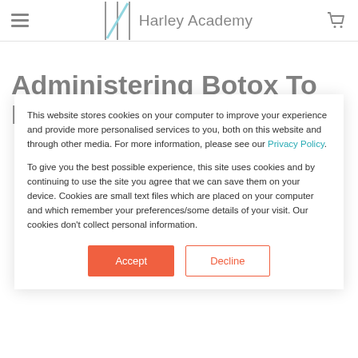Harley Academy
Administering Botox To Male
This website stores cookies on your computer to improve your experience and provide more personalised services to you, both on this website and through other media. For more information, please see our Privacy Policy.
To give you the best possible experience, this site uses cookies and by continuing to use the site you agree that we can save them on your device. Cookies are small text files which are placed on your computer and which remember your preferences/some details of your visit. Our cookies don't collect personal information.